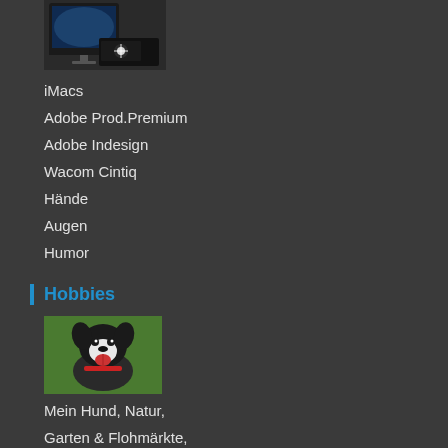[Figure (photo): iMac computer and Wacom Cintiq tablet device shown together]
iMacs
Adobe Prod.Premium
Adobe Indesign
Wacom Cintiq
Hände
Augen
Humor
Hobbies
[Figure (photo): Dog (black and white dog with red collar) outdoors with tongue out]
Mein Hund, Natur,
Garten & Flohmärkte,
Kino, Fotografieren, Comicstores, Meer & Pfannkuchen